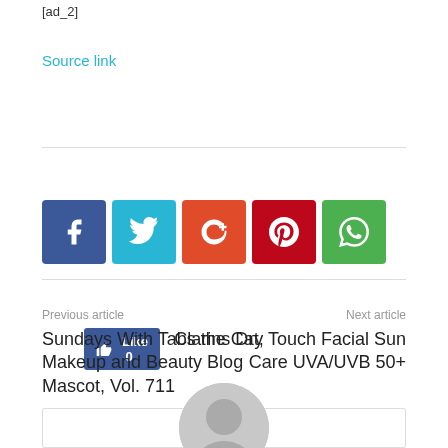[ad_2]
Source link
[Figure (other): Facebook Like button showing count 0]
[Figure (other): Social share icons: Facebook, Twitter, Google+, Pinterest, WhatsApp]
Previous article
Next article
Sundays With Tabs the Cat, Makeup and Beauty Blog Mascot, Vol. 711
Clarins Dry Touch Facial Sun Care UVA/UVB 50+
[Figure (other): Author avatar placeholder box with grey circular avatar icon]